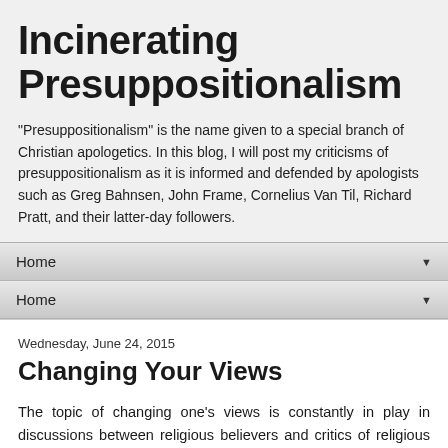Incinerating Presuppositionalism
"Presuppositionalism" is the name given to a special branch of Christian apologetics. In this blog, I will post my criticisms of presuppositionalism as it is informed and defended by apologists such as Greg Bahnsen, John Frame, Cornelius Van Til, Richard Pratt, and their latter-day followers.
Home ▼
Home ▼
Wednesday, June 24, 2015
Changing Your Views
The topic of changing one's views is constantly in play in discussions between religious believers and critics of religious beliefs. The question often arises: What would it